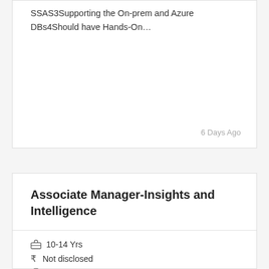SSAS3Supporting the On-prem and Azure DBs4Should have Hands-On…
6 Days Ago
Associate Manager-Insights and Intelligence
10-14 Yrs
Not disclosed
Bangalore/Bengaluru
Job Description:
You will be required to utilize the existing frameworks,standards,patterns…